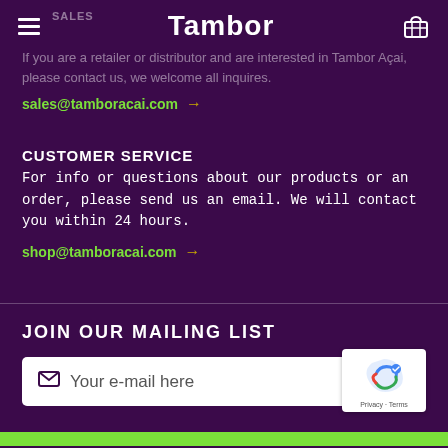Tambor
If you are a retailer or distributor and are interested in Tambor Açai, please contact us, we welcome all inquires.
sales@tamboracai.com →
CUSTOMER SERVICE
For info or questions about our products or an order, please send us an email. We will contact you within 24 hours.
shop@tamboracai.com →
JOIN OUR MAILING LIST
Your e-mail here